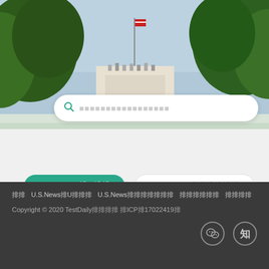[Figure (photo): Outdoor photo of a building with a flagpole, trees, and sky in the background — resembling a government or institutional building.]
Search bar with placeholder text (Chinese characters)
U.S.News 排U排排 (active tab, green)
U.S.News 排排排排排排 (inactive tab)
[Figure (other): Green circular chat bubble icon with three dots]
排排  U.S.News排U排排排  U.S.News排排排排排排排  排排排排排排  排排排排
Copyright © 2020 TestDaily排排排排 排ICP排17022419排